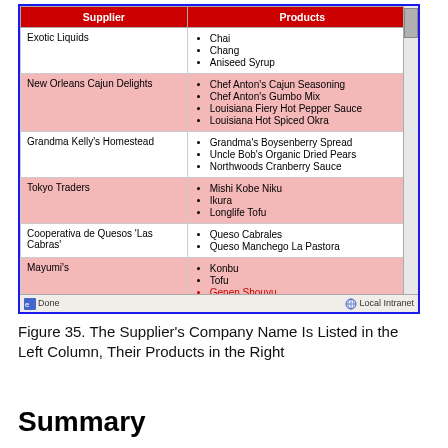[Figure (screenshot): Browser screenshot showing a two-column table with Supplier in the left column and Products in the right column. Rows include: Exotic Liquids (Chai, Chang, Aniseed Syrup), New Orleans Cajun Delights (Chef Anton's Cajun Seasoning, Chef Anton's Gumbo Mix, Louisiana Fiery Hot Pepper Sauce, Louisiana Hot Spiced Okra), Grandma Kelly's Homestead (Grandma's Boysenberry Spread, Uncle Bob's Organic Dried Pears, Northwoods Cranberry Sauce), Tokyo Traders (Mishi Kobe Niku, Ikura, Longlife Tofu), Cooperativa de Quesos 'Las Cabras' (Queso Cabrales, Queso Manchego La Pastora), Mayumi's (Konbu, Tofu, Genen Shouyu partially visible). Status bar shows Done and Local Intranet.]
Figure 35. The Supplier's Company Name Is Listed in the Left Column, Their Products in the Right
Summary